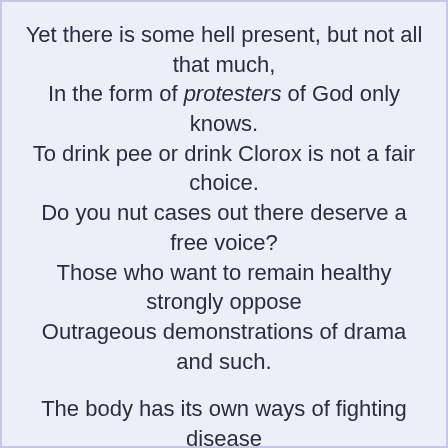Yet there is some hell present, but not all that much,
In the form of protesters of God only knows.
To drink pee or drink Clorox is not a fair choice.
Do you nut cases out there deserve a free voice?
Those who want to remain healthy strongly oppose
Outrageous demonstrations of drama and such.

The body has its own ways of fighting disease
Its defenses are elegant. Yet as a whole
Humankind is susceptible to invasion.